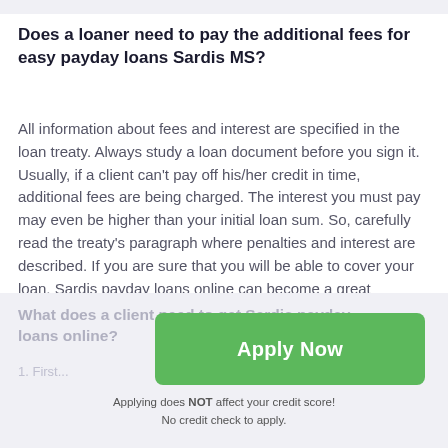Does a loaner need to pay the additional fees for easy payday loans Sardis MS?
All information about fees and interest are specified in the loan treaty. Always study a loan document before you sign it. Usually, if a client can't pay off his/her credit in time, additional fees are being charged. The interest you must pay may even be higher than your initial loan sum. So, carefully read the treaty's paragraph where penalties and interest are described. If you are sure that you will be able to cover your loan, Sardis payday loans online can become a great solution of your temporary financial problems.
What does a client need to get Sardis payday loans online?
[Figure (other): Green Apply Now button with text 'Apply Now']
Applying does NOT affect your credit score!
No credit check to apply.